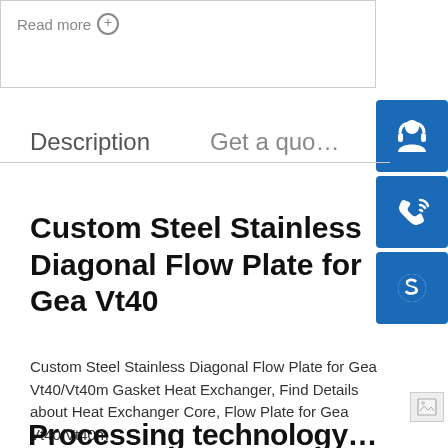Read more ⊕
Description
Get a quo…
Custom Steel Stainless Diagonal Flow Plate for Gea Vt40
Custom Steel Stainless Diagonal Flow Plate for Gea Vt40/Vt40m Gasket Heat Exchanger, Find Details about Heat Exchanger Core, Flow Plate for Gea Vt40/Vt40m
Processing technology…